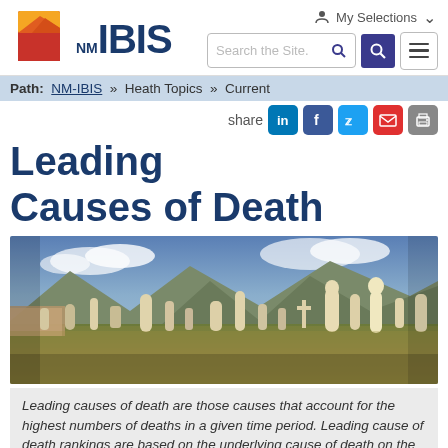[Figure (logo): NM IBIS logo with New Mexico state outline in red and orange/yellow mountain graphic]
My Selections
Search the Site.
Path:  NM-IBIS » Heath Topics » Current
share
Leading Causes of Death
[Figure (photo): Wide photograph of a cemetery with numerous headstones in a desert landscape with mountains in the background]
Leading causes of death are those causes that account for the highest numbers of deaths in a given time period. Leading cause of death rankings are based on the underlying cause of death on the death certificate for 50 rankable causes of death.